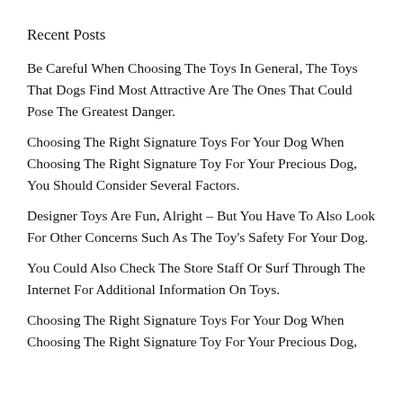Recent Posts
Be Careful When Choosing The Toys In General, The Toys That Dogs Find Most Attractive Are The Ones That Could Pose The Greatest Danger.
Choosing The Right Signature Toys For Your Dog When Choosing The Right Signature Toy For Your Precious Dog, You Should Consider Several Factors.
Designer Toys Are Fun, Alright – But You Have To Also Look For Other Concerns Such As The Toy's Safety For Your Dog.
You Could Also Check The Store Staff Or Surf Through The Internet For Additional Information On Toys.
Choosing The Right Signature Toys For Your Dog When Choosing The Right Signature Toy For Your Precious Dog,